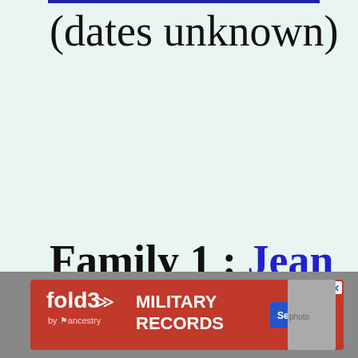(dates unknown)
Family 1 : Jean Baptiste D'ESTAVAYER
(b. aft 1530, d.
[Figure (screenshot): Fold3 by Ancestry advertisement banner for Military Records with Search Now button]